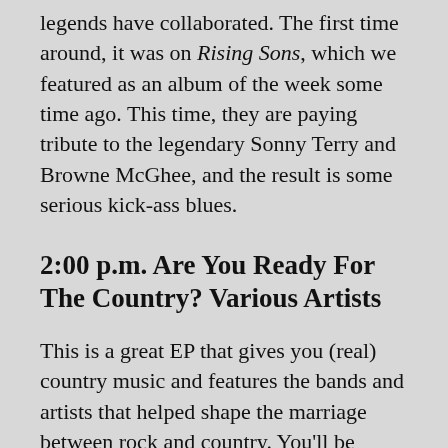legends have collaborated. The first time around, it was on Rising Sons, which we featured as an album of the week some time ago. This time, they are paying tribute to the legendary Sonny Terry and Browne McGhee, and the result is some serious kick-ass blues.
2:00 p.m. Are You Ready For The Country? Various Artists
This is a great EP that gives you (real) country music and features the bands and artists that helped shape the marriage between rock and country. You'll be